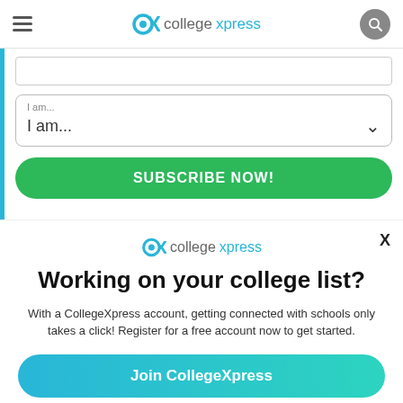collegexpress
[Figure (screenshot): CollegeXpress website header with hamburger menu, logo, and search button]
I am...
SUBSCRIBE NOW!
[Figure (logo): CollegeXpress logo in modal overlay]
Working on your college list?
With a CollegeXpress account, getting connected with schools only takes a click! Register for a free account now to get started.
Join CollegeXpress